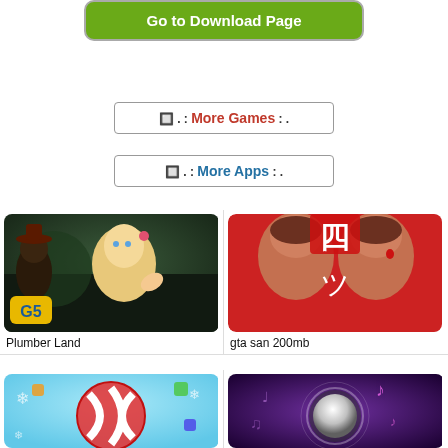[Figure (screenshot): Green 'Go to Download Page' button with rounded corners and grey border]
[Figure (screenshot): Button with red text 'More Games' with decorative symbols, grey border]
[Figure (screenshot): Button with blue text 'More Apps' with decorative symbols, grey border]
[Figure (illustration): Plumber Land game icon - fantasy adventure scene with blonde girl and G5 logo]
Plumber Land
[Figure (illustration): gta san 200mb game icon - anime style characters with Japanese characters]
gta san 200mb
[Figure (illustration): Candy-themed game icon with colorful candy ball and snowflakes]
[Figure (illustration): Music game icon with glowing ball and musical notes on purple background]